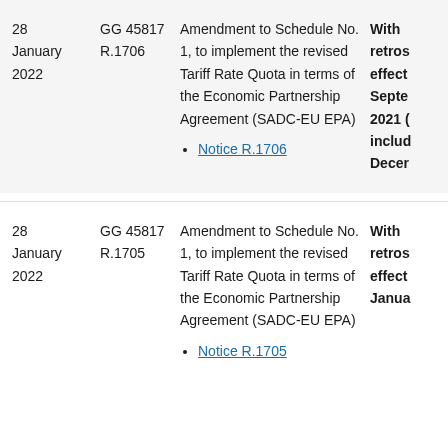| Date | GG | Description | Effect |
| --- | --- | --- | --- |
| 28 January 2022 | GG 45817
R.1706 | Amendment to Schedule No. 1, to implement the revised Tariff Rate Quota in terms of the Economic Partnership Agreement (SADC-EU EPA)
Notice R.1706 | With retrospective effect from September 2021 (including December... |
| 28 January 2022 | GG 45817
R.1705 | Amendment to Schedule No. 1, to implement the revised Tariff Rate Quota in terms of the Economic Partnership Agreement (SADC-EU EPA)
Notice R.1705 | With retrospective effect from January... |